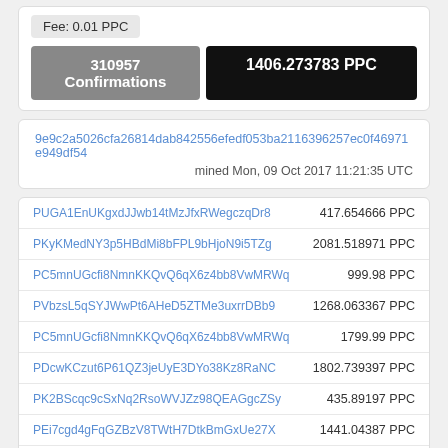Fee: 0.01 PPC
310957 Confirmations
1406.273783 PPC
9e9c2a5026cfa26814dab842556efedf053ba2116396257ec0f46971e949df54
mined Mon, 09 Oct 2017 11:21:35 UTC
PUGA1EnUKgxdJJwb14tMzJfxRWegczqDr8   417.654666 PPC
PKyKMedNY3p5HBdMi8bFPL9bHjoN9i5TZg   2081.518971 PPC
PC5mnUGcfi8NmnKKQvQ6qX6z4bb8VwMRWq   999.98 PPC
PVbzsL5qSYJWwPt6AHeD5ZTMe3uxrrDBb9   1268.063367 PPC
PC5mnUGcfi8NmnKKQvQ6qX6z4bb8VwMRWq   1799.99 PPC
PDcwKCzut6P61QZ3jeUyE3DYo38Kz8RaNC   1802.739397 PPC
PK2BScqc9cSxNq2RsoWVJZz98QEAGgcZSy   435.89197 PPC
PEi7cgd4gFqGZBzV8TWtH7DtkBmGxUe27X   1441.04387 PPC
P9eHokuxqq2pEs293gTzraR8YVL2AZz8wR   491.918141 PPC